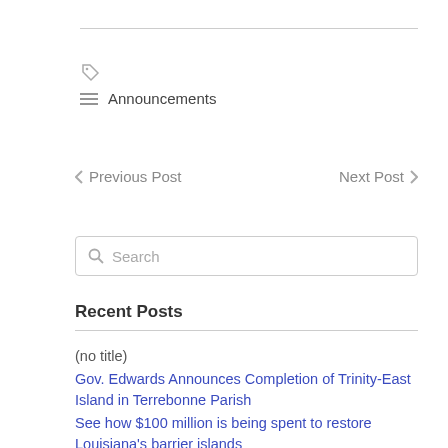Announcements
Previous Post    Next Post
Search
Recent Posts
(no title)
Gov. Edwards Announces Completion of Trinity-East Island in Terrebonne Parish
See how $100 million is being spent to restore Louisiana's barrier islands